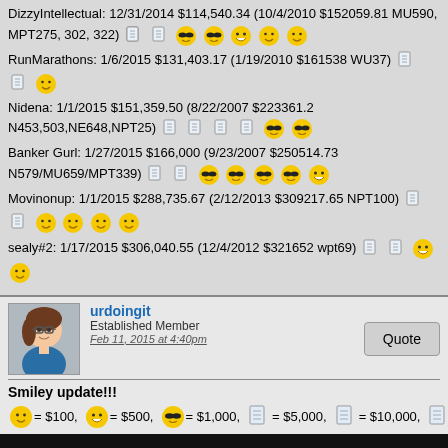DizzyIntellectual: 12/31/2014 $114,540.34 (10/4/2010 $152059.81 MU590, MPT275, 302, 322) [icons]
RunMarathons: 1/6/2015 $131,403.17 (1/19/2010 $161538 WU37) [icons]
Nidena: 1/1/2015 $151,359.50 (8/22/2007 $223361.2 N453,503,NE648,NPT25) [icons]
Banker Gurl: 1/27/2015 $166,000 (9/23/2007 $250514.73 N579/MU659/MPT339) [icons]
Movinonup: 1/1/2015 $288,735.67 (2/12/2013 $309217.65 NPT100) [icons]
sealy#2: 1/17/2015 $306,040.55 (12/4/2012 $321652 wpt69) [icons]
urdoingit - Established Member - Feb 11, 2015 at 4:40pm
Smiley update!!!
= $100, = $500, = $1,000, = $5,000, = $10,000, =